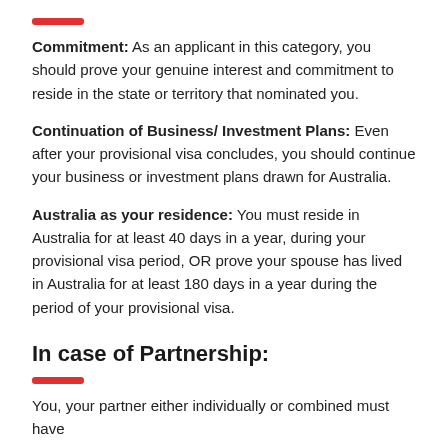Commitment: As an applicant in this category, you should prove your genuine interest and commitment to reside in the state or territory that nominated you.
Continuation of Business/ Investment Plans: Even after your provisional visa concludes, you should continue your business or investment plans drawn for Australia.
Australia as your residence: You must reside in Australia for at least 40 days in a year, during your provisional visa period, OR prove your spouse has lived in Australia for at least 180 days in a year during the period of your provisional visa.
In case of Partnership:
You, your partner either individually or combined must have